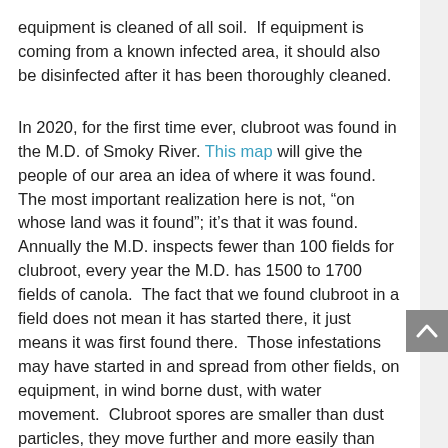equipment is cleaned of all soil.  If equipment is coming from a known infected area, it should also be disinfected after it has been thoroughly cleaned.
In 2020, for the first time ever, clubroot was found in the M.D. of Smoky River. This map will give the people of our area an idea of where it was found.  The most important realization here is not, “on whose land was it found”; it’s that it was found.  Annually the M.D. inspects fewer than 100 fields for clubroot, every year the M.D. has 1500 to 1700 fields of canola.  The fact that we found clubroot in a field does not mean it has started there, it just means it was first found there.  Those infestations may have started in and spread from other fields, on equipment, in wind borne dust, with water movement.  Clubroot spores are smaller than dust particles, they move further and more easily than dust.  At the January 12, 2022 Council Meeting Council updated Policy 703 Clubroot of Canola to advise